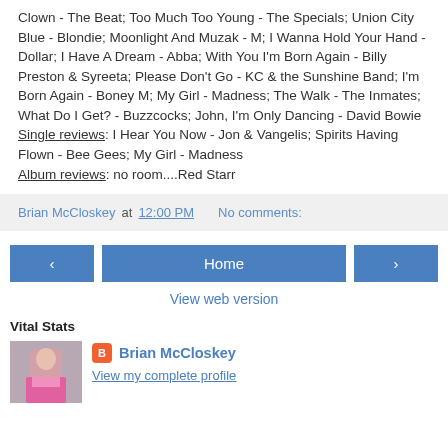Clown - The Beat; Too Much Too Young - The Specials; Union City Blue - Blondie; Moonlight And Muzak - M; I Wanna Hold Your Hand - Dollar; I Have A Dream - Abba; With You I'm Born Again - Billy Preston & Syreeta; Please Don't Go - KC & the Sunshine Band; I'm Born Again - Boney M; My Girl - Madness; The Walk - The Inmates; What Do I Get? - Buzzcocks; John, I'm Only Dancing - David Bowie Single reviews: I Hear You Now - Jon & Vangelis; Spirits Having Flown - Bee Gees; My Girl - Madness Album reviews: no room....Red Starr
Brian McCloskey at 12:00 PM   No comments:
‹   Home   ›
View web version
Vital Stats
Brian McCloskey
View my complete profile